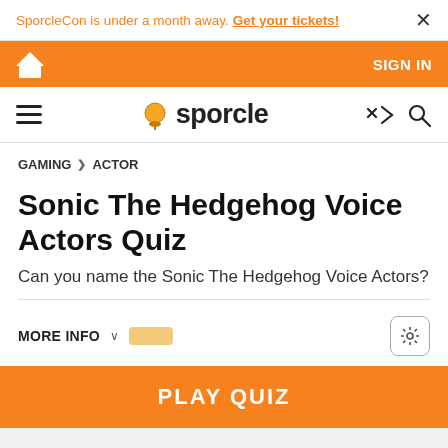SporcleCon is under a month away. Get your tickets! ×
SIGN IN
sporcle
GAMING > ACTOR
Sonic The Hedgehog Voice Actors Quiz
Can you name the Sonic The Hedgehog Voice Actors?
MORE INFO
PLAY QUIZ